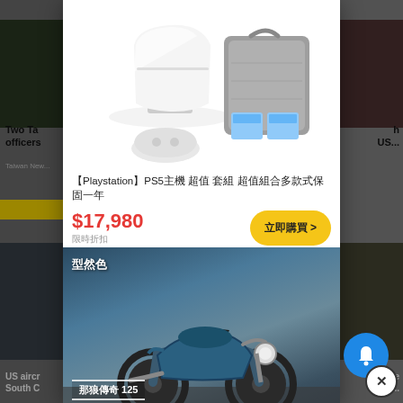[Figure (screenshot): Background news website with dark overlays on left and right columns. Left column shows partial news images and headlines.]
[Figure (photo): Product modal popup showing PS5 console with carrying case and accessories on white background.]
【Playstation】PS5主機 超值 套組 超值組合多款式保固一年
$17,980
限時折扣
立即購買 >
[Figure (photo): Motorcycle product photo - dark blue/teal retro motorcycle (SYM 那狼傳奇 125) in urban setting with text overlay showing model name and color.]
【SYM三陽機車】那狼傳奇 那狼傳奇 125/84000元
$84,000
立即購買 >